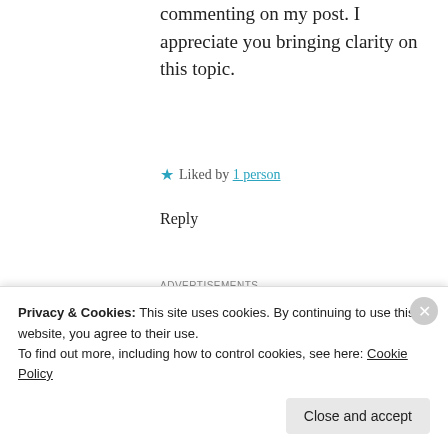commenting on my post. I appreciate you bringing clarity on this topic.
★ Liked by 1 person
Reply
ADVERTISEMENTS
[Figure (other): WordPress advertisement banner: 'Professionally designed sites in less than a week' with WordPress logo]
REPORT THIS AD
Lindsey Loree
Privacy & Cookies: This site uses cookies. By continuing to use this website, you agree to their use.
To find out more, including how to control cookies, see here: Cookie Policy
Close and accept